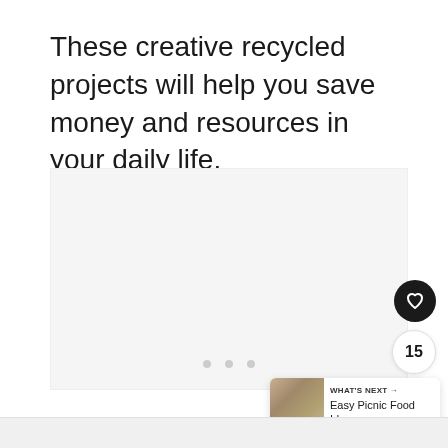These creative recycled projects will help you save money and resources in your daily life.
[Figure (photo): Large empty image placeholder with light gray background, containing three small dot indicators at the bottom center]
WHAT'S NEXT → Easy Picnic Food Ideas:...